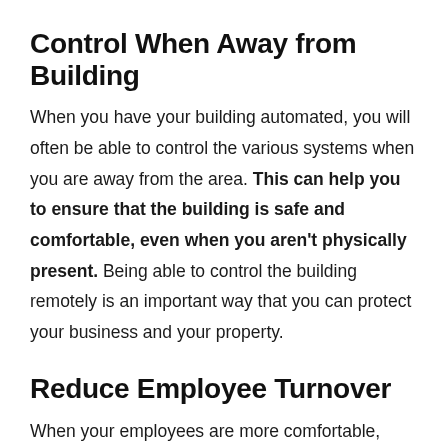Control When Away from Building
When you have your building automated, you will often be able to control the various systems when you are away from the area. This can help you to ensure that the building is safe and comfortable, even when you aren't physically present. Being able to control the building remotely is an important way that you can protect your business and your property.
Reduce Employee Turnover
When your employees are more comfortable, they will be more satisfied with their job. Automated systems enable you to keep your building more comfortable